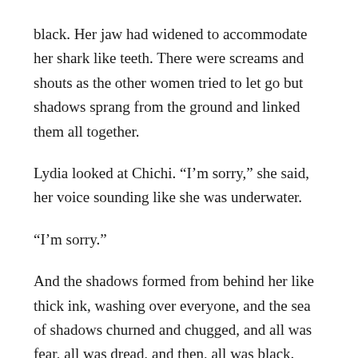black. Her jaw had widened to accommodate her shark like teeth. There were screams and shouts as the other women tried to let go but shadows sprang from the ground and linked them all together.
Lydia looked at Chichi. “I’m sorry,” she said, her voice sounding like she was underwater.
“I’m sorry.”
And the shadows formed from behind her like thick ink, washing over everyone, and the sea of shadows churned and chugged, and all was fear, all was dread, and then, all was black.